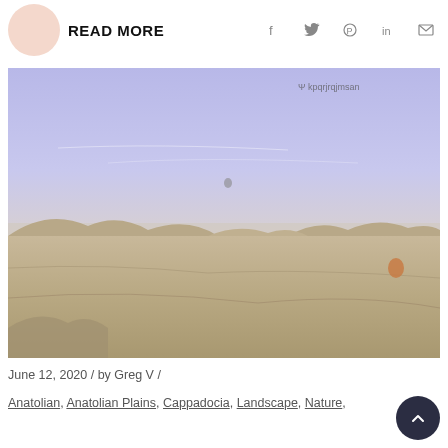READ MORE
[Figure (photo): Aerial landscape photo of Cappadocia, Turkey showing rocky terrain, valleys, and a purple-blue sky with a hot air balloon visible in the distance. Small watermark text visible in upper right corner of image.]
June 12, 2020 / by Greg V /
Anatolian, Anatolian Plains, Cappadocia, Landscape, Nature,